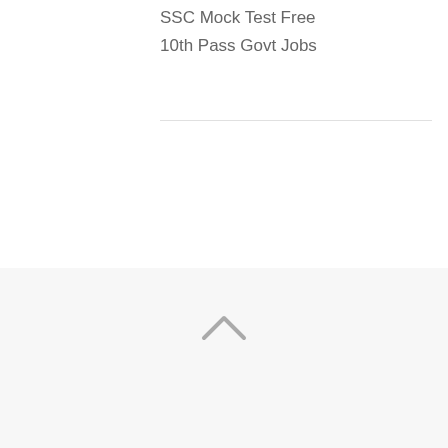SSC Mock Test Free
10th Pass Govt Jobs
[Figure (other): Upward chevron/caret navigation icon in light gray]